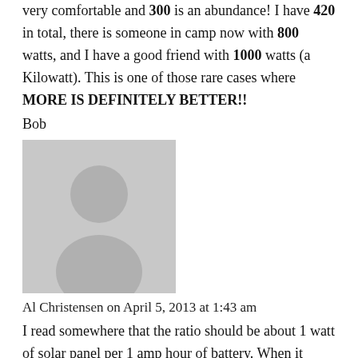very comfortable and 300 is an abundance! I have 420 in total, there is someone in camp now with 800 watts, and I have a good friend with 1000 watts (a Kilowatt). This is one of those rare cases where MORE IS DEFINITELY BETTER!!
Bob
[Figure (illustration): Grey placeholder avatar image showing a silhouette of a person]
Al Christensen on April 5, 2013 at 1:43 am
I read somewhere that the ratio should be about 1 watt of solar panel per 1 amp hour of battery. When it comes to the batteries staying properly charged, I suppose it's better to have a bit too much panel than too much